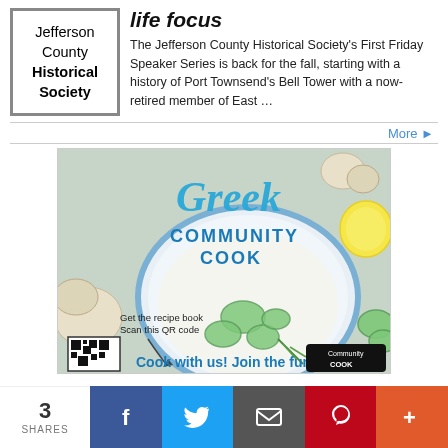[Figure (logo): Jefferson County Historical Society logo in a bordered box]
life focus
The Jefferson County Historical Society's First Friday Speaker Series is back for the fall, starting with a history of Port Townsend's Bell Tower with a now-retired member of East …
More ▶
[Figure (infographic): Greek Community Cook advertisement showing tzatziki dip with cucumber, garlic, lemon, dill. Text: 'Greek COMMUNITY COOK', 'Get the recipe book Scan this QR code', 'Cook with us! Join the fun!']
3 SHARES | Facebook | Twitter | Email | Pinterest | More